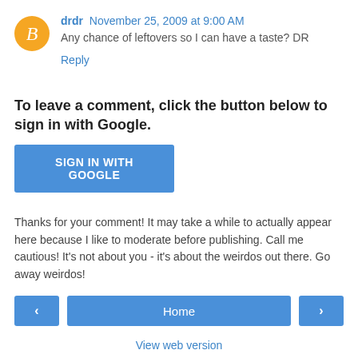drdr  November 25, 2009 at 9:00 AM
Any chance of leftovers so I can have a taste? DR
Reply
To leave a comment, click the button below to sign in with Google.
SIGN IN WITH GOOGLE
Thanks for your comment! It may take a while to actually appear here because I like to moderate before publishing. Call me cautious! It's not about you - it's about the weirdos out there. Go away weirdos!
< Home > View web version